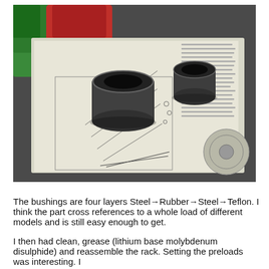[Figure (photo): Photograph of two cylindrical steel bushings (Steel-Rubber-Steel-Teflon layered) placed on top of an open technical manual/service handbook showing exploded-view engineering diagrams of a rack and pinion steering assembly. A green container and red container are visible in the background on a workbench.]
The bushings are four layers Steel→Rubber→Steel→Teflon. I think the part cross references to a whole load of different models and is still easy enough to get.
I then had clean, grease (lithium base molybdenum disulphide) and reassemble the rack. Setting the preloads was interesting. I